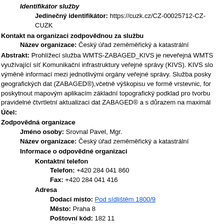Identifikátor služby
Jedinečný identifikátor: https://cuzk.cz/CZ-00025712-CZ-CUZK
Kontakt na organizaci zodpovědnou za službu
Název organizace: Český úřad zeměměřický a katastrální
Abstrakt: Prohlížecí služba WMTS-ZABAGED_KIVS je neveřejná WMTS využívající síť Komunikační infrastruktury veřejné správy (KIVS). KIVS slo výměně informací mezi jednotlivými orgány veřejné správy. Služba posky geografických dat (ZABAGED®),včetně výškopisu ve formě vrstevnic, for poskytnout mapovým aplikacím základní topografický podklad pro tvorbu pravidelné čtvrtletní aktualizaci dat ZABAGED® a s důrazem na maximál
Účel:
Zodpovědná organizace
Jméno osoby: Srovnal Pavel, Mgr.
Název organizace: Český úřad zeměměřický a katastrální
Informace o odpovědné organizaci
Kontaktní telefon
Telefon: +420 284 041 860
Fax: +420 284 041 416
Adresa
Dodací místo: Pod sídlištěm 1800/9
Město: Praha 8
Poštovní kód: 182 11
Země: Česká republika
E-mail: pavel.srovnal@cuzk.cz
Online zdroj
Odkaz: https://geoportal.cuzk.cz